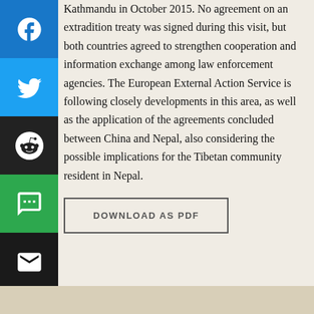Kathmandu in October 2015. No agreement on an extradition treaty was signed during this visit, but both countries agreed to strengthen cooperation and information exchange among law enforcement agencies. The European External Action Service is following closely developments in this area, as well as the application of the agreements concluded between China and Nepal, also considering the possible implications for the Tibetan community resident in Nepal.
[Figure (other): Social media sharing buttons: Facebook (blue), Twitter (light blue), Reddit (dark/black), SMS (green), Email (dark/black)]
DOWNLOAD AS PDF